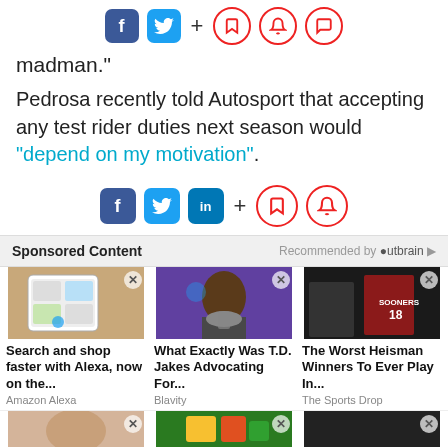[Figure (other): Social sharing buttons row: Facebook, Twitter, plus sign, bookmark icon, bell icon, comment icon]
madman."
Pedrosa recently told Autosport that accepting any test rider duties next season would "depend on my motivation".
[Figure (other): Social sharing buttons row: Facebook, Twitter, LinkedIn, plus sign, bookmark icon, bell icon]
Sponsored Content  Recommended by Outbrain
[Figure (other): Sponsored content card: Phone showing app - Search and shop faster with Alexa, now on the... Amazon Alexa]
[Figure (other): Sponsored content card: Man speaking - What Exactly Was T.D. Jakes Advocating For... Blavity]
[Figure (other): Sponsored content card: Athlete in Sooners jersey - The Worst Heisman Winners To Ever Play In... The Sports Drop]
[Figure (other): Three more sponsored content cards (partially visible at bottom)]